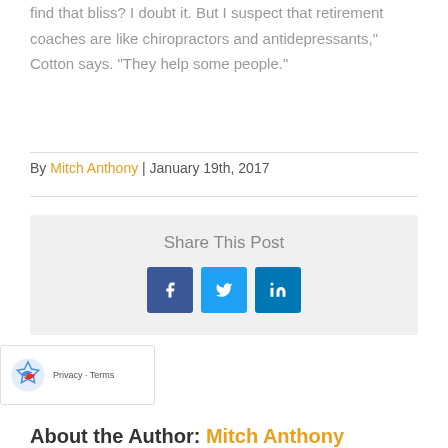find that bliss? I doubt it. But I suspect that retirement coaches are like chiropractors and antidepressants," Cotton says. "They help some people."
By Mitch Anthony | January 19th, 2017
[Figure (infographic): Share This Post section with Facebook, Twitter, and LinkedIn social media icon buttons]
[Figure (other): reCAPTCHA widget showing Privacy and Terms links]
About the Author: Mitch Anthony